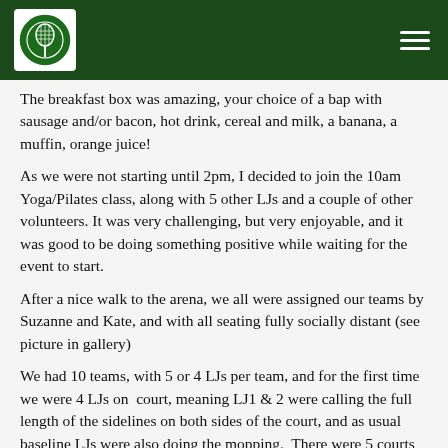[Figure (logo): Sports club logo in a white rounded square on a dark green header bar, with a hamburger menu icon on the right]
The breakfast box was amazing, your choice of a bap with sausage and/or bacon, hot drink, cereal and milk, a banana, a muffin, orange juice!
As we were not starting until 2pm, I decided to join the 10am Yoga/Pilates class, along with 5 other LJs and a couple of other volunteers. It was very challenging, but very enjoyable, and it was good to be doing something positive while waiting for the event to start.
After a nice walk to the arena, we all were assigned our teams by Suzanne and Kate, and with all seating fully socially distant (see picture in gallery)
We had 10 teams, with 5 or 4 LJs per team, and for the first time we were 4 LJs on  court, meaning LJ1 & 2 were calling the full length of the sidelines on both sides of the court, and as usual baseline LJs were also doing the mopping.  There were 5 courts and 2 teams assigned to each court, and we rotated, 1 game on & 1 game off, for the full session on our assigned court, which started at 1.30pm and